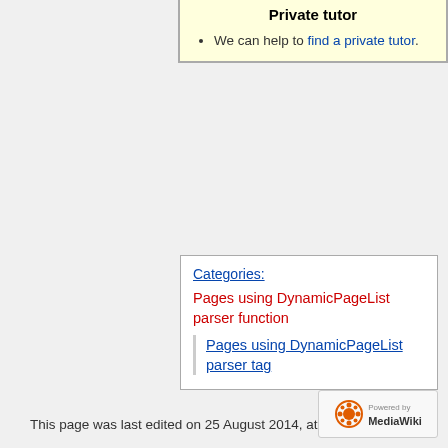Private tutor
We can help to find a private tutor.
Categories:
Pages using DynamicPageList parser function
Pages using DynamicPageList parser tag
This page was last edited on 25 August 2014, at 16:07.
This page has been accessed 168 times.
Privacy policy   About the UBC Wiki   Disclaimers